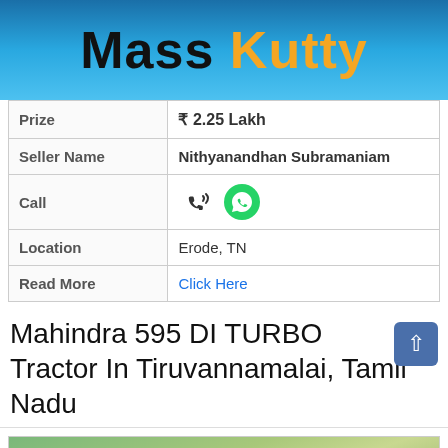Mass Kutty
| Prize | ₹ 2.25 Lakh |
| Seller Name | Nithyanandhan Subramaniam |
| Call | [phone icon] [whatsapp icon] |
| Location | Erode, TN |
| Read More | Click Here |
Mahindra 595 DI TURBO Tractor In Tiruvannamalai, Tamil Nadu
[Figure (photo): Outdoor photo showing trees and a building, bottom of page]